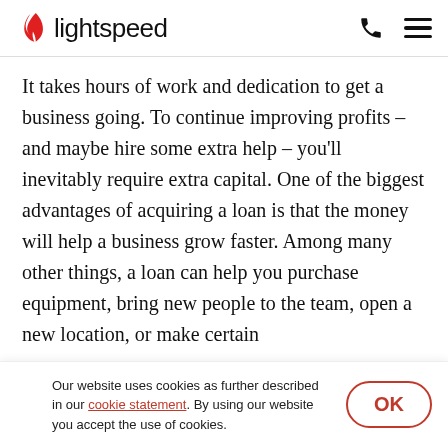lightspeed
It takes hours of work and dedication to get a business going. To continue improving profits – and maybe hire some extra help – you'll inevitably require extra capital. One of the biggest advantages of acquiring a loan is that the money will help a business grow faster. Among many other things, a loan can help you purchase equipment, bring new people to the team, open a new location, or make certain
Our website uses cookies as further described in our cookie statement. By using our website you accept the use of cookies.